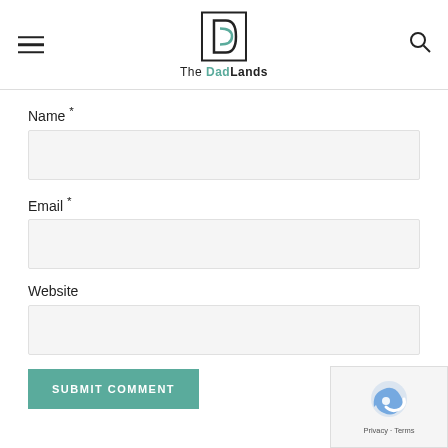The DadLands
Name *
Email *
Website
SUBMIT COMMENT
[Figure (logo): reCAPTCHA logo with Privacy and Terms text]